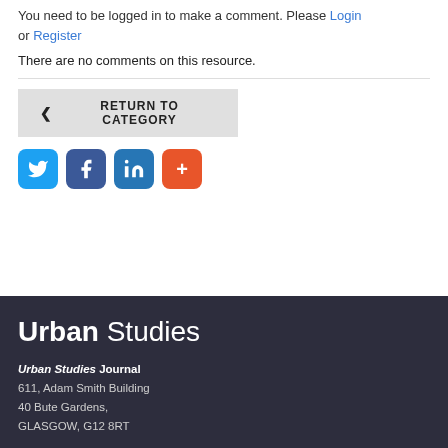You need to be logged in to make a comment. Please Login or Register
There are no comments on this resource.
RETURN TO CATEGORY
[Figure (other): Social sharing icons: Twitter (blue bird), Facebook (dark blue f), LinkedIn (teal in), and a red plus/more button]
[Figure (logo): Urban Studies journal logo in white text on dark navy background]
Urban Studies Journal
611, Adam Smith Building
40 Bute Gardens,
GLASGOW, G12 8RT